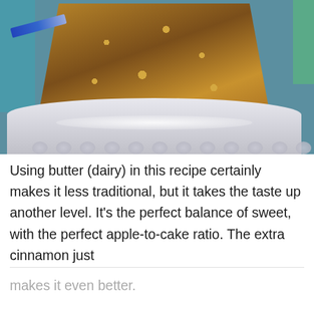[Figure (photo): A slice of apple cinnamon cake with visible apple chunks, dusted with powdered sugar, served on a white scalloped plate with a blue-handled fork in the background. Teal/turquoise background visible.]
Using butter (dairy) in this recipe certainly makes it less traditional, but it takes the taste up another level. It’s the perfect balance of sweet, with the perfect apple-to-cake ratio. The extra cinnamon just makes it even better.